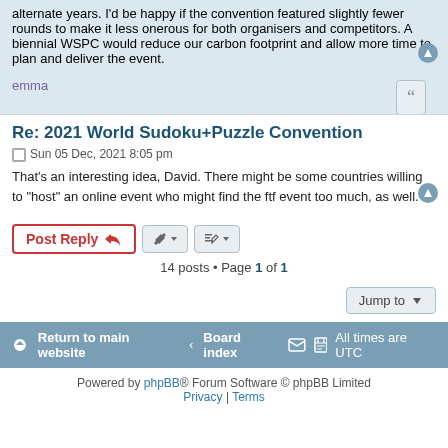alternate years. I'd be happy if the convention featured slightly fewer rounds to make it less onerous for both organisers and competitors. A biennial WSPC would reduce our carbon footprint and allow more time to plan and deliver the event.
emma
Re: 2021 World Sudoku+Puzzle Convention
Sun 05 Dec, 2021 8:05 pm
That's an interesting idea, David. There might be some countries willing to "host" an online event who might find the ftf event too much, as well.
14 posts • Page 1 of 1
Return to main website   Board index   All times are UTC
Powered by phpBB® Forum Software © phpBB Limited   Privacy | Terms